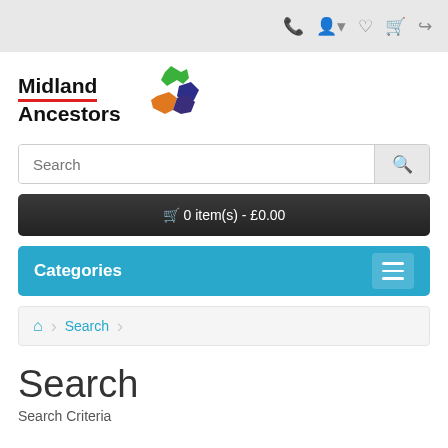Top navigation bar with phone, account, wishlist, cart, and share icons
[Figure (logo): Midland Ancestors logo with stylized map of England regions in green, dark blue/purple, and orange]
Search (search input placeholder)
🛒 0 item(s) - £0.00
Categories
Home > Search (breadcrumb)
Search
Search Criteria